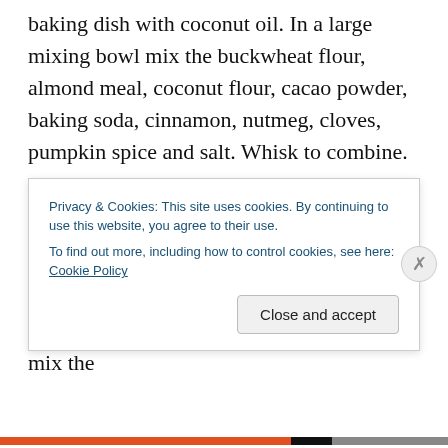baking dish with coconut oil. In a large mixing bowl mix the buckwheat flour, almond meal, coconut flour, cacao powder, baking soda, cinnamon, nutmeg, cloves, pumpkin spice and salt. Whisk to combine.
Advertisements
2. Next add walnuts, hemp seeds, grated carrots and chopped dates to the dry flour mixture. Toss to combine.
3. In a food processor or high-speed blender mix the
Privacy & Cookies: This site uses cookies. By continuing to use this website, you agree to their use. To find out more, including how to control cookies, see here: Cookie Policy